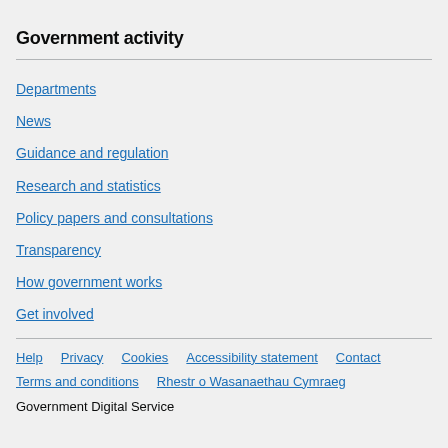Government activity
Departments
News
Guidance and regulation
Research and statistics
Policy papers and consultations
Transparency
How government works
Get involved
Help   Privacy   Cookies   Accessibility statement   Contact   Terms and conditions   Rhestr o Wasanaethau Cymraeg   Government Digital Service